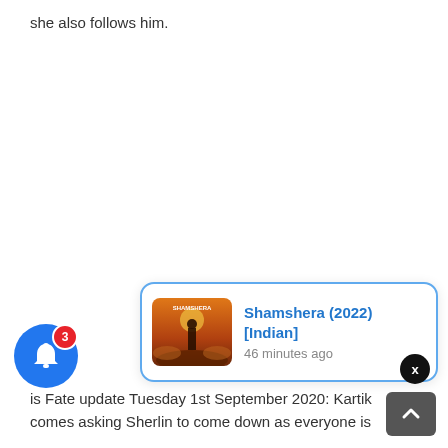she also follows him.
[Figure (screenshot): A notification popup card showing 'Shamshera (2022) [Indian]' with a movie thumbnail, blue border, and '46 minutes ago' timestamp. A close X button appears top-right, a blue bell notification icon with badge '3' appears bottom-left, and a dark scroll-to-top arrow button appears bottom-right.]
is Fate update Tuesday 1st September 2020: Kartik comes asking Sherlin to come down as everyone is